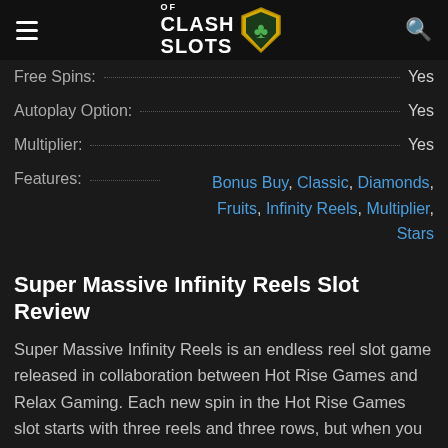Clash of Slots
Free Spins: Yes
Autoplay Option: Yes
Multiplier: Yes
Features: Bonus Buy, Classic, Diamonds, Fruits, Infinity Reels, Multiplier, Stars
Super Massive Infinity Reels Slot Review
Super Massive Infinity Reels is an endless reel slot game released in collaboration between Hot Rise Games and Relax Gaming. Each new spin in the Hot Rise Games slot starts with three reels and three rows, but when you get a win on all three reels, another reel is added to the main playing field on the right side. If the new reel also brings a win, another reel is added and so on ad infinitum.